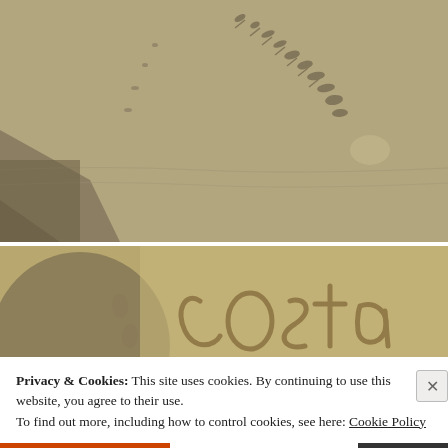[Figure (photo): Aerial/close-up photograph of sandy beach with bird tracks and shadow patterns visible on wet sand]
[Figure (photo): Close-up photograph of sandy beach with text or markings carved/written in the sand, partially visible with warm golden tones]
Privacy & Cookies: This site uses cookies. By continuing to use this website, you agree to their use.
To find out more, including how to control cookies, see here: Cookie Policy
Close and accept